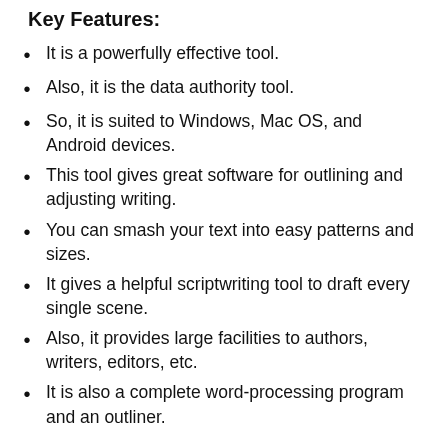Key Features:
It is a powerfully effective tool.
Also, it is the data authority tool.
So, it is suited to Windows, Mac OS, and Android devices.
This tool gives great software for outlining and adjusting writing.
You can smash your text into easy patterns and sizes.
It gives a helpful scriptwriting tool to draft every single scene.
Also, it provides large facilities to authors, writers, editors, etc.
It is also a complete word-processing program and an outliner.